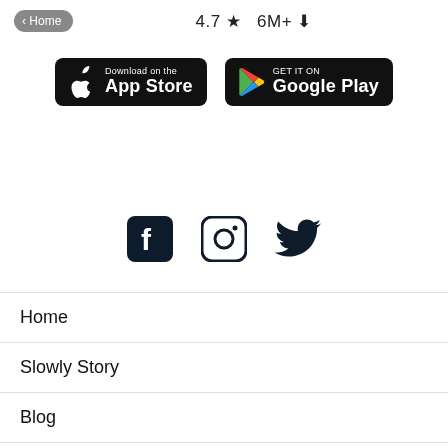< Home   4.7 ★  6M+ ⬇
[Figure (other): App Store and Google Play download buttons]
[Figure (other): Social media icons: Facebook, Instagram, Twitter]
Home
Slowly Story
Blog